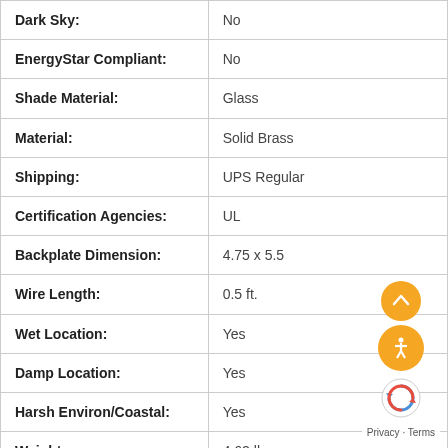| Dark Sky: | No |
| EnergyStar Compliant: | No |
| Shade Material: | Glass |
| Material: | Solid Brass |
| Shipping: | UPS Regular |
| Certification Agencies: | UL |
| Backplate Dimension: | 4.75 x 5.5 |
| Wire Length: | 0.5 ft. |
| Wet Location: | Yes |
| Damp Location: | Yes |
| Harsh Environ/Coastal: | Yes |
| Weight: | 4.62 lbs |